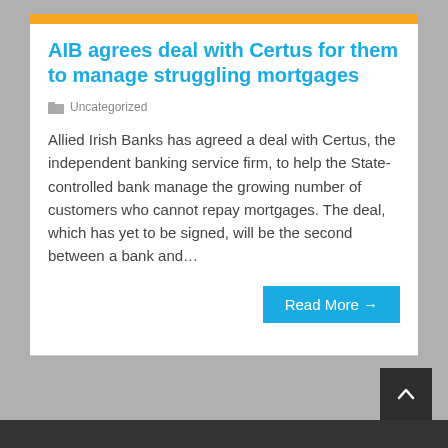AIB agrees deal with Certus for them to manage struggling mortgages
Uncategorized
Allied Irish Banks has agreed a deal with Certus, the independent banking service firm, to help the State-controlled bank manage the growing number of customers who cannot repay mortgages. The deal, which has yet to be signed, will be the second between a bank and…
Read More →